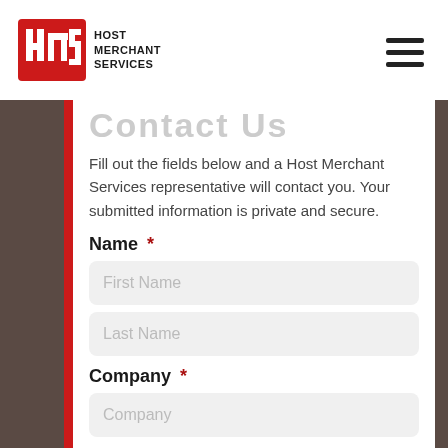HOST MERCHANT SERVICES
Fill out the fields below and a Host Merchant Services representative will contact you. Your submitted information is private and secure.
Name *
First Name
Last Name
Company *
Company
Business Location *
Business Location